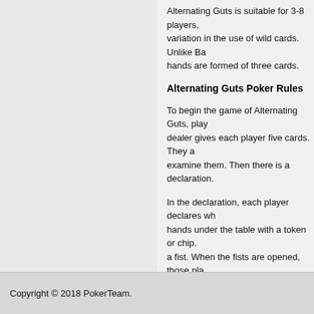Alternating Guts is suitable for 3-8 players, variation in the use of wild cards. Unlike Ba hands are formed of three cards.
Alternating Guts Poker Rules
To begin the game of Alternating Guts, play dealer gives each player five cards. They a examine them. Then there is a declaration.
In the declaration, each player declares wh hands under the table with a token or chip. a fist. When the fists are opened, those pla hands are empty are out. In this manner, n
Players turn over their cards, revealing the two cards which are two numbers apart ca a three and a five, they can be used as a s actually three aces. There are no straights kind, followed by pair and high card.
The winner of the round gets the pot, while manner the pot is either the same size or la only one player stays in, the game is over.
Copyright © 2018 PokerTeam.